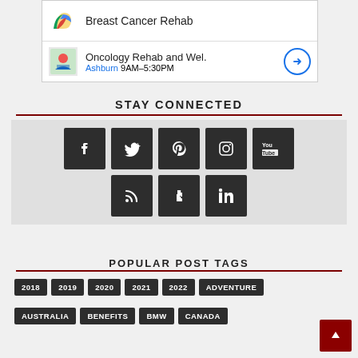[Figure (screenshot): Advertisement block showing 'Breast Cancer Rehab' and 'Oncology Rehab and Wel.' listings with icons and navigation arrow]
STAY CONNECTED
[Figure (infographic): Social media icons grid: Facebook, Twitter, Pinterest, Instagram, YouTube in top row; RSS, Tumblr, LinkedIn in bottom row — all white icons on dark square backgrounds]
POPULAR POST TAGS
2018
2019
2020
2021
2022
ADVENTURE
AUSTRALIA
BENEFITS
BMW
CANADA